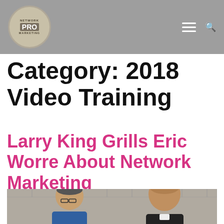Network Marketing PRO
Category: 2018 Video Training
Larry King Grills Eric Worre About Network Marketing
[Figure (photo): Two men seated at a table: Larry King on the left wearing glasses and a blue jacket, Eric Worre on the right in a dark suit, with a brick wall background.]